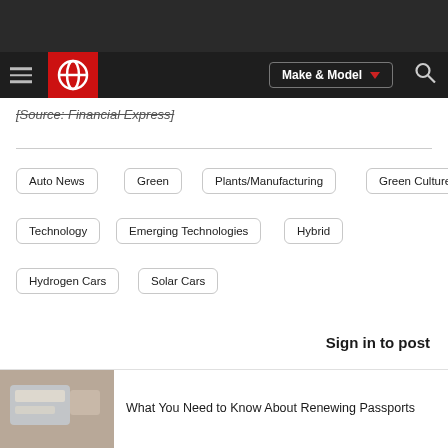CarGurus navigation bar with logo, Make & Model selector, and search icon
[Source: Financial Express]
Auto News
Green
Plants/Manufacturing
Green Culture
Technology
Emerging Technologies
Hybrid
Hydrogen Cars
Solar Cars
Sign in to post
What You Need to Know About Renewing Passports